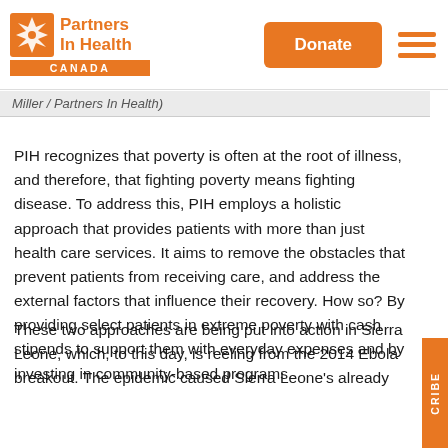[Figure (logo): Partners In Health Canada logo with orange maple leaf icon and orange 'CANADA' bar]
[Figure (other): Orange 'Donate' button]
[Figure (other): Orange hamburger menu icon (three horizontal lines)]
Miller / Partners In Health)
PIH recognizes that poverty is often at the root of illness, and therefore, that fighting poverty means fighting disease. To address this, PIH employs a holistic approach that provides patients with more than just health care services. It aims to remove the obstacles that prevent patients from receiving care, and address the external factors that influence their recovery. How so? By providing select patients in extreme poverty with cash stipends to support them with everyday expenses and by investing in community-based programs.
These two approaches are being put into action in Sierra Leone, which, to this day, is reeling from the 2014 Ebola breakout. The epidemic caused Sierra Leone's already